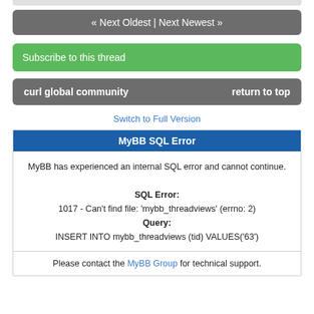« Next Oldest | Next Newest »
Subscribe to this thread
curl global community    return to top
Switch to Full Version
MyBB SQL Error
MyBB has experienced an internal SQL error and cannot continue.

SQL Error:
1017 - Can't find file: 'mybb_threadviews' (errno: 2)
Query:
INSERT INTO mybb_threadviews (tid) VALUES('63')
Please contact the MyBB Group for technical support.